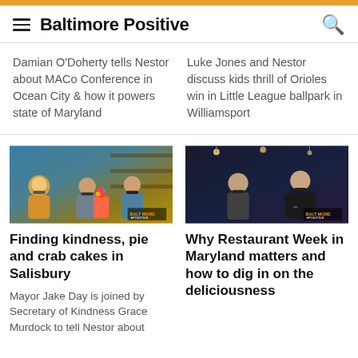Baltimore Positive
Damian O'Doherty tells Nestor about MACo Conference in Ocean City & how it powers state of Maryland
Luke Jones and Nestor discuss kids thrill of Orioles win in Little League ballpark in Williamsport
[Figure (photo): Three people with headphones at a podcast table in a restaurant/bar setting with a colorful drink visible, Baltimore Positive logo watermark]
Finding kindness, pie and crab cakes in Salisbury
Mayor Jake Day is joined by Secretary of Kindness Grace Murdock to tell Nestor about
[Figure (photo): Two men with headphones at a podcast table in a bar/restaurant setting, one holding a dark t-shirt, Baltimore Positive logo watermark]
Why Restaurant Week in Maryland matters and how to dig in on the deliciousness